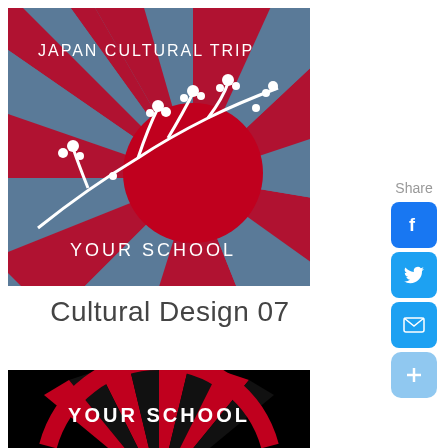[Figure (illustration): Japan Cultural Trip design on steel-blue background: rising sun with radiating red rays, red circle center, white cherry blossom branch overlay. Text 'JAPAN CULTURAL TRIP' at top and 'YOUR SCHOOL' at bottom in white.]
Cultural Design 07
[Figure (illustration): Black background with red circular design showing 'YOUR SCHOOL' text curved at top in white, with red radiating rays visible at bottom.]